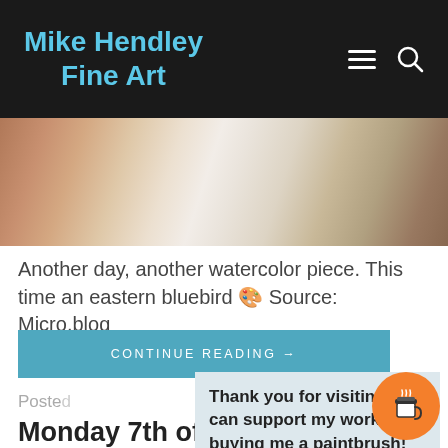Mike Hendley Fine Art
[Figure (photo): Partial view of an artwork in progress — a watercolor painting with a hand visible, showing paper and painting surface]
Another day, another watercolor piece. This time an eastern bluebird 🎨 Source: Micro.blog
CONTINUE READING →
Posted
Thank you for visiting. You can support my work by buying me a paintbrush!
Monday 7th of June 2021